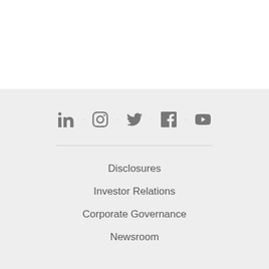[Figure (other): Social media icons: LinkedIn, Instagram, Twitter, Facebook, YouTube separated by dots]
Disclosures
Investor Relations
Corporate Governance
Newsroom